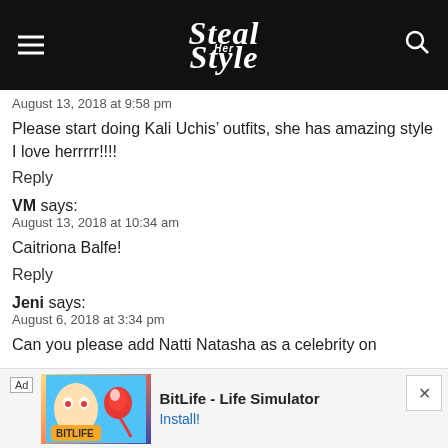Steal Her Style
August 13, 2018 at 9:58 pm
Please start doing Kali Uchis' outfits, she has amazing style I love herrrrr!!!!
Reply
VM says:
August 13, 2018 at 10:34 am
Caitriona Balfe!
Reply
Jeni says:
August 6, 2018 at 3:34 pm
Can you please add Natti Natasha as a celebrity on
[Figure (screenshot): Ad banner for BitLife - Life Simulator app with Install button]